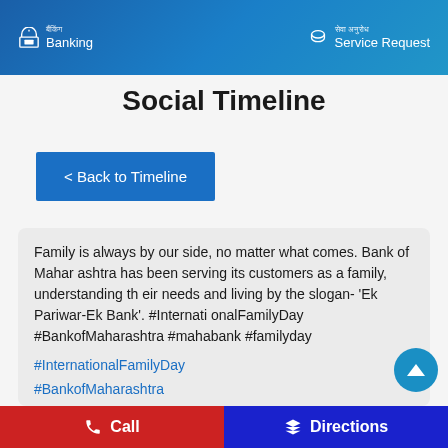Banking | Service Request
Social Timeline
< Back to Timeline
Family is always by our side, no matter what comes. Bank of Maharashtra has been serving its customers as a family, understanding their needs and living by the slogan- 'Ek Pariwar-Ek Bank'. #InternationalFamilyDay #BankofMaharashtra #mahabank #familyday
#InternationalFamilyDay
#BankofMaharashtra
#mahabank
#familyday
Call | Directions